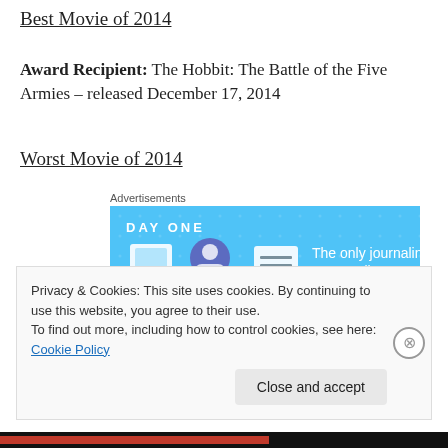Best Movie of 2014
Award Recipient: The Hobbit: The Battle of the Five Armies – released December 17, 2014
Worst Movie of 2014
[Figure (screenshot): Advertisement banner for Day One journaling app on a light blue background. Text reads: DAY ONE – The only journaling app you'll ever need.]
Award Recipient: Godzilla – released May 16, 2014
Privacy & Cookies: This site uses cookies. By continuing to use this website, you agree to their use.
To find out more, including how to control cookies, see here: Cookie Policy